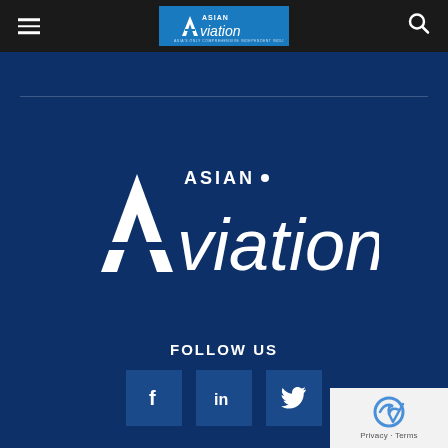Asian Aviation – navigation bar with hamburger menu, logo, and search icon
[Figure (logo): Asian Aviation logo – large white text 'ASIAN Aviation' on dark blue background, centered in the main body area]
FOLLOW US
[Figure (infographic): Three social media icon buttons: Facebook (f), LinkedIn (in), Twitter (bird)]